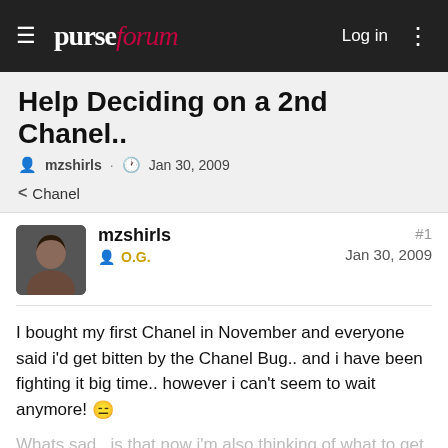purseforum  Log in
Help Deciding on a 2nd Chanel..
mzshirls · Jan 30, 2009
< Chanel
mzshirls  O.G.  #1  Jan 30, 2009
I bought my first Chanel in November and everyone said i'd get bitten by the Chanel Bug.. and i have been fighting it big time.. however i can't seem to wait anymore! 🙁
Whats sad.. is that now i'm also thinking of what to get next based on what i want to get for the 3rd one!!! i'm so in trouble..